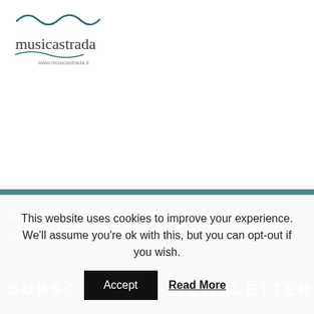[Figure (logo): Musicastrada logo with wavy lines above text 'musicastrada' and 'www.musicastrada.it']
Promoting Music and Photography since 2000, based in Tuscany Italy.
SUBSCRIBE TO NEWSLETTER
This website uses cookies to improve your experience. We'll assume you're ok with this, but you can opt-out if you wish. Accept Read More